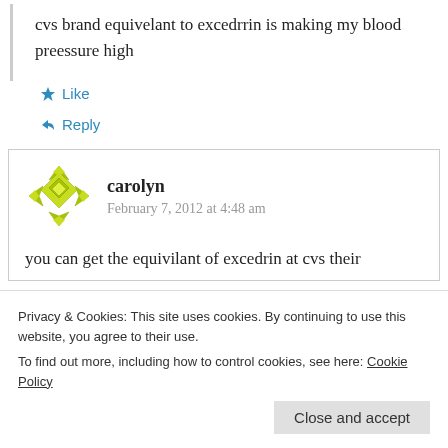cvs brand equivelant to excedrrin is making my blood preessure high
★ Like
↪ Reply
carolyn
February 7, 2012 at 4:48 am
you can get the equivilant of excedrin at cvs their
Privacy & Cookies: This site uses cookies. By continuing to use this website, you agree to their use.
To find out more, including how to control cookies, see here: Cookie Policy
Close and accept